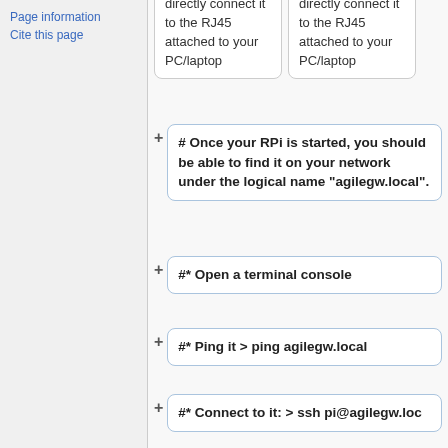Page information
Cite this page
directly connect it to the RJ45 attached to your PC/laptop
directly connect it to the RJ45 attached to your PC/laptop
# Once your RPi is started, you should be able to find it on your network under the logical name "agilegw.local".
#* Open a terminal console
#* Ping it > ping agilegw.local
#* Connect to it: > ssh pi@agilegw.loc